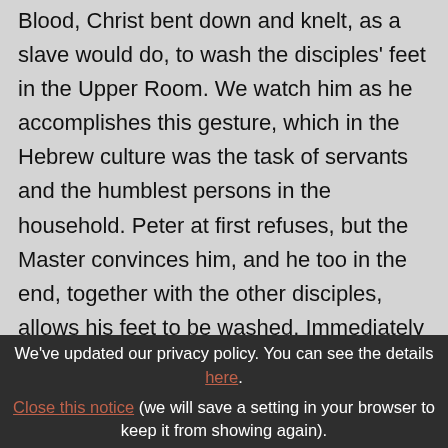Blood, Christ bent down and knelt, as a slave would do, to wash the disciples' feet in the Upper Room. We watch him as he accomplishes this gesture, which in the Hebrew culture was the task of servants and the humblest persons in the household. Peter at first refuses, but the Master convinces him, and he too in the end, together with the other disciples, allows his feet to be washed. Immediately afterwards, however, clothed
We've updated our privacy policy. You can see the details here.
Close this notice (we will save a setting in your browser to keep it from showing again).